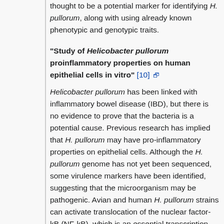thought to be a potential marker for identifying H. pullorum, along with using already known phenotypic and genotypic traits.
"Study of Helicobacter pullorum proinflammatory properties on human epithelial cells in vitro" [10]
Helicobacter pullorum has been linked with inflammatory bowel disease (IBD), but there is no evidence to prove that the bacteria is a potential cause. Previous research has implied that H. pullorum may have pro-inflammatory properties on epithelial cells. Although the H. pullorum genome has not yet been sequenced, some virulence markers have been identified, suggesting that the microorganism may be pathogenic. Avian and human H. pullorum strains can activate translocation of the nuclear factor-kB (NF-kB), which is an essential transcription factor in chronic inflammatory disease. NF-kB, once inside the cytoplasm of a cell, can move into the nucleus and regulate the expression of multiple target genes, such